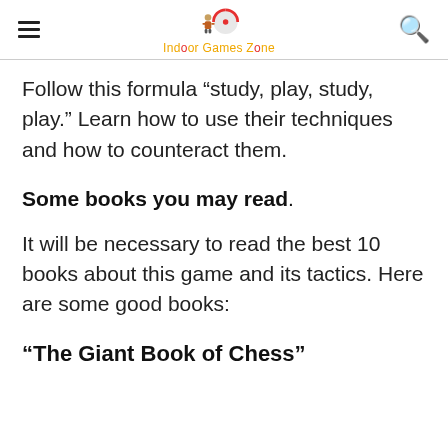Indoor Games Zone
Follow this formula “study, play, study, play.” Learn how to use their techniques and how to counteract them.
Some books you may read.
It will be necessary to read the best 10 books about this game and its tactics. Here are some good books:
“The Giant Book of Chess”